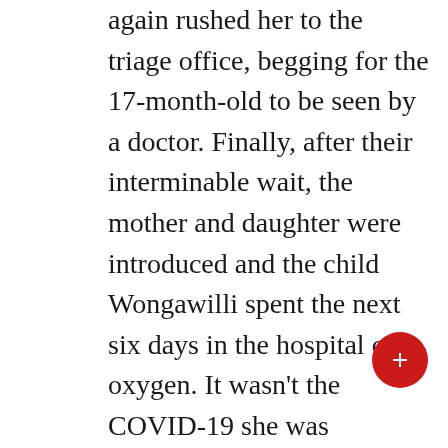again rushed her to the triage office, begging for the 17-month-old to be seen by a doctor. Finally, after their interminable wait, the mother and daughter were introduced and the child Wongawilli spent the next six days in the hospital on oxygen. It wasn't the COVID-19 she was struggling with, but bronchiolitis. Yet her mother said the pressures from so many people hospitalized with COVID put a strain on resources. And she's afraid of what that might mean for others who need emergency care. “Kendall woke up on New Years Day with a cough and a high temperature and we first watched her at home,” Ms Castle said. “The next day, when she was not keeping her fluids, we called the doctor radio and were on hold for 50 minutes before the line was cut. That's when we decided to go. 'take to the hospital, which we had been trying to avoid